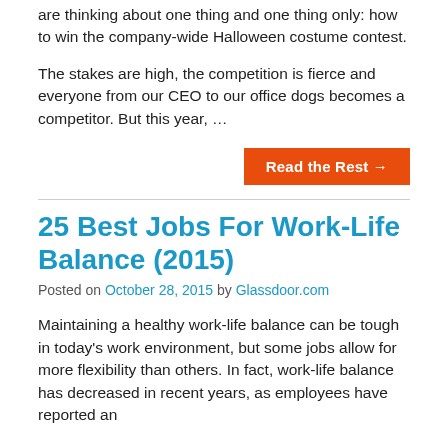are thinking about one thing and one thing only: how to win the company-wide Halloween costume contest.
The stakes are high, the competition is fierce and everyone from our CEO to our office dogs becomes a competitor. But this year, …
Read the Rest →
25 Best Jobs For Work-Life Balance (2015)
Posted on October 28, 2015 by Glassdoor.com
Maintaining a healthy work-life balance can be tough in today's work environment, but some jobs allow for more flexibility than others. In fact, work-life balance has decreased in recent years, as employees have reported an